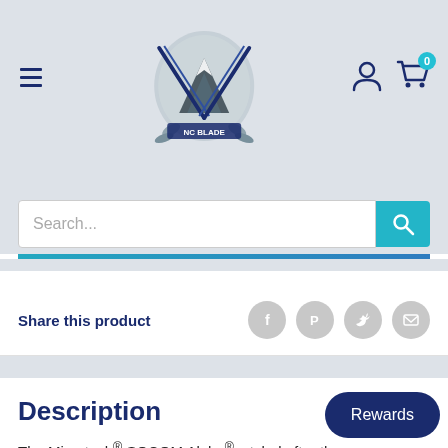[Figure (logo): NC Blade store logo — mountain and crossed blades emblem]
Search...
Share this product
Description
The Microtech® SOCOM Alpha®, styled after the original SOCOM folder, is a full-tang fixed blade knife. This knife has a G-10 handle allowing for maximum grip and comes equipped with